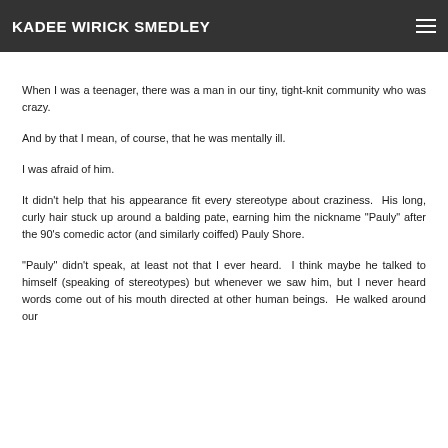KADEE WIRICK SMEDLEY
When I was a teenager, there was a man in our tiny, tight-knit community who was crazy.
And by that I mean, of course, that he was mentally ill.
I was afraid of him.
It didn’t help that his appearance fit every stereotype about craziness. His long, curly hair stuck up around a balding pate, earning him the nickname “Pauly” after the 90’s comedic actor (and similarly coiffed) Pauly Shore.
“Pauly” didn’t speak, at least not that I ever heard. I think maybe he talked to himself (speaking of stereotypes) but whenever we saw him, but I never heard words come out of his mouth directed at other human beings. He walked around our